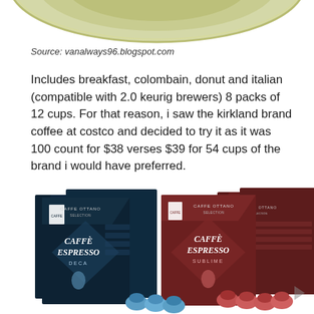[Figure (photo): Partial top view of a round tin or container lid with a light olive/yellow color, cropped at the top of the page]
Source: vanalways96.blogspot.com
Includes breakfast, colombain, donut and italian (compatible with 2.0 keurig brewers) 8 packs of 12 cups. For that reason, i saw the kirkland brand coffee at costco and decided to try it as it was 100 count for $38 verses $39 for 54 cups of the brand i would have preferred.
[Figure (photo): Product photo of Caffe Ottano Caffe Espresso boxes in dark navy/black packaging (Deca variety) and dark red/maroon packaging (Sublime variety), with blue and red espresso capsules displayed in front]